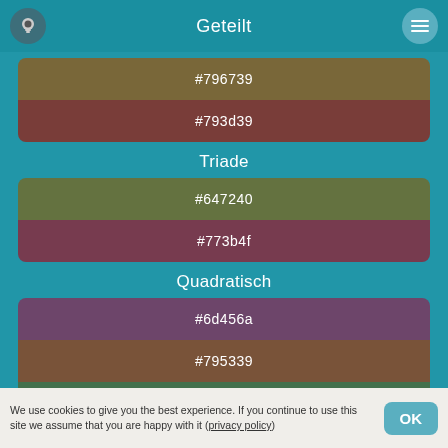Geteilt
Geteilt
#796739
#793d39
Triade
#647240
#773b4f
Quadratisch
#6d456a
#795339
#42704c
Tetradisch
We use cookies to give you the best experience. If you continue to use this site we assume that you are happy with it (privacy policy)